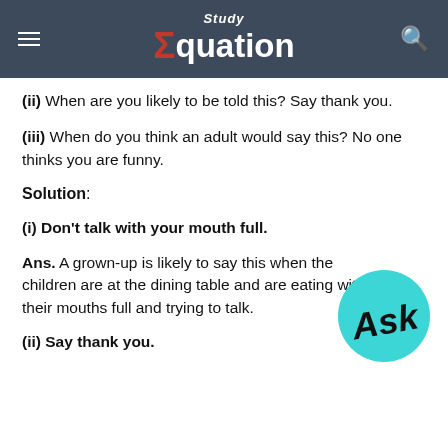Study Equation
(ii) When are you likely to be told this? Say thank you.
(iii) When do you think an adult would say this? No one thinks you are funny.
Solution:
(i) Don't talk with your mouth full.
Ans. A grown-up is likely to say this when the children are at the dining table and are eating with their mouths full and trying to talk.
(ii) Say thank you.